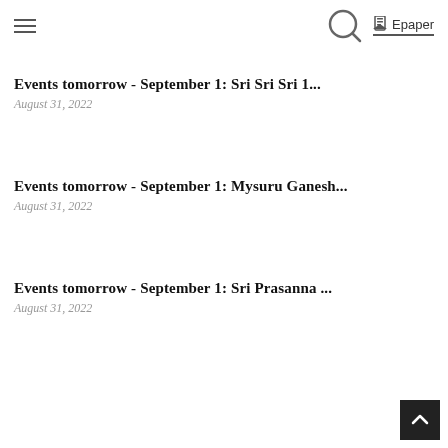≡  🔍  Epaper
Events tomorrow  - September 1: Sri Sri Sri 1...
August 31, 2022
Events tomorrow  - September 1: Mysuru Ganesh...
August 31, 2022
Events tomorrow  - September 1: Sri Prasanna ...
August 31, 2022